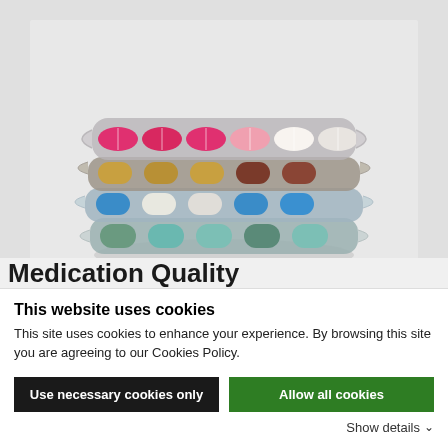[Figure (photo): Stacked blister packs of colorful pills and capsules — pink/white capsules on top, then brown/gold tablets, then blue/white/blue tablets, then teal/white/teal/dark teal tablets on bottom, against a light gray background.]
Medication Quality
This website uses cookies
This site uses cookies to enhance your experience. By browsing this site you are agreeing to our Cookies Policy.
Use necessary cookies only
Allow all cookies
Show details